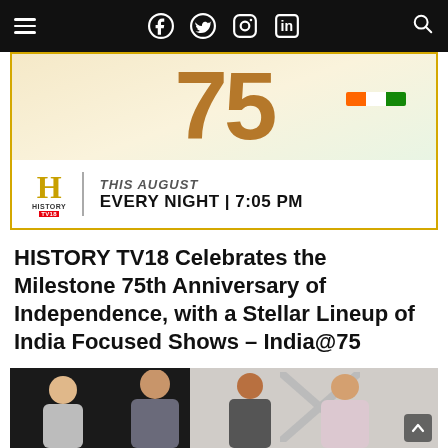Navigation bar with hamburger menu, social icons (Facebook, Twitter, Instagram, LinkedIn), and search icon
[Figure (photo): History TV18 promotional banner for India@75, showing the number 75 in gold with Indian flag colors, History TV18 logo, and schedule: THIS AUGUST EVERY NIGHT | 7:05 PM]
HISTORY TV18 Celebrates the Milestone 75th Anniversary of Independence, with a Stellar Lineup of India Focused Shows – India@75
[Figure (photo): Group photo of men at an event, smiling, in an indoor setting]